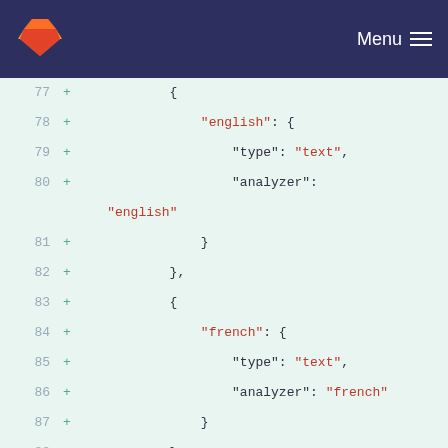GitLab — Menu
[Figure (screenshot): GitLab diff view showing JSON code lines 77-95 with additions (green background), displaying nested JSON structure with english and french analyzer fields and speakers_chairs nested property definition.]